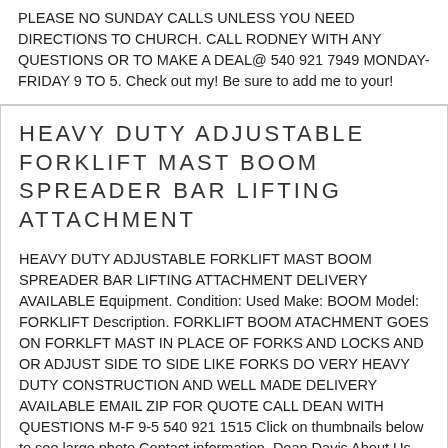PLEASE NO SUNDAY CALLS UNLESS YOU NEED DIRECTIONS TO CHURCH. CALL RODNEY WITH ANY QUESTIONS OR TO MAKE A DEAL@ 540 921 7949 MONDAY-FRIDAY 9 TO 5. Check out my! Be sure to add me to your!
HEAVY DUTY ADJUSTABLE FORKLIFT MAST BOOM SPREADER BAR LIFTING ATTACHMENT
HEAVY DUTY ADJUSTABLE FORKLIFT MAST BOOM SPREADER BAR LIFTING ATTACHMENT DELIVERY AVAILABLE Equipment. Condition: Used Make: BOOM Model: FORKLIFT Description. FORKLIFT BOOM ATACHMENT GOES ON FORKLFT MAST IN PLACE OF FORKS AND LOCKS AND OR ADJUST SIDE TO SIDE LIKE FORKS DO VERY HEAVY DUTY CONSTRUCTION AND WELL MADE DELIVERY AVAILABLE EMAIL ZIP FOR QUOTE CALL DEAN WITH QUESTIONS M-F 9-5 540 921 1515 Click on thumbnails below to see large photo Contact information. Dean Davis About Us. Affordable Trucks and Equipment. Inc sells all types of trucks and equipment. We are located on a nine acre facility at 127 Clendennin Road. Narrows, Virgina. This is conveniently located on US Route 460. We are only 30 miles off of Interstate 81(Exit 118B) in Virginia, and just 22 miles off of Interstate 77(Exit 9) in West Virginia. We have been at this location ... more
1993 LULL 844B 8000 POUND TELESCOPIC SHOOTING BOOM 4X4X4